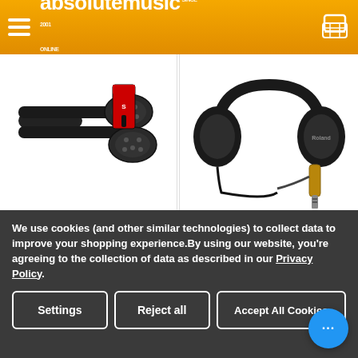absolutemusic
[Figure (photo): Stagg SMD3 E 3m/10ft MIDI Cable product photo showing black MIDI cable with DIN connectors]
Stagg SMD3 E 3m/10ft MIDI Cable
[Figure (photo): Roland RH-5 Closed Back Headphones product photo showing black headphones with 6.35mm jack adapter]
Roland RH-5 Closed Back Headphones
We use cookies (and other similar technologies) to collect data to improve your shopping experience.By using our website, you're agreeing to the collection of data as described in our Privacy Policy.
Settings
Reject all
Accept All Cookies